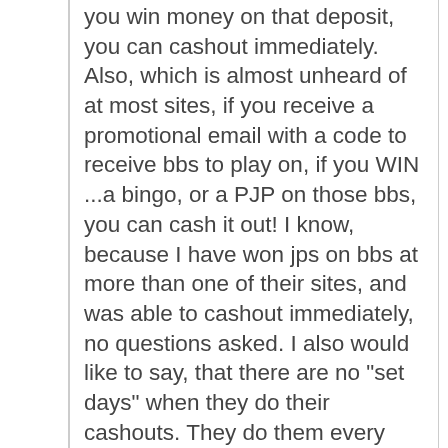you win money on that deposit, you can cashout immediately. Also, which is almost unheard of at most sites, if you receive a promotional email with a code to receive bbs to play on, if you WIN ...a bingo, or a PJP on those bbs, you can cash it out! I know, because I have won jps on bbs at more than one of their sites, and was able to cashout immediately, no questions asked. I also would like to say, that there are no "set days" when they do their cashouts. They do them every single day. And on top of that, they do their cashouts within 12 hours of your cashout request. Meaning, that the money comes out of your bingo account and is processed within 12 hours. Depending on the cashout method chosen, it takes only a few days to receive your win! As I said, I was, until recently, employed by B.E. and enjoyed my